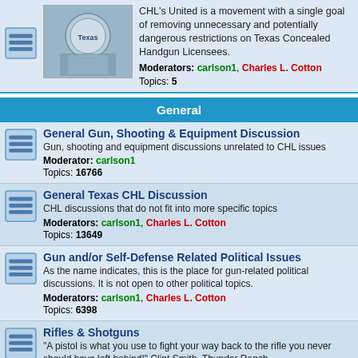CHL's United is a movement with a single goal of removing unnecessary and potentially dangerous restrictions on Texas Concealed Handgun Licensees. Moderators: carlson1, Charles L. Cotton Topics: 5
General
General Gun, Shooting & Equipment Discussion
Gun, shooting and equipment discussions unrelated to CHL issues
Moderator: carlson1
Topics: 16766
General Texas CHL Discussion
CHL discussions that do not fit into more specific topics
Moderators: carlson1, Charles L. Cotton
Topics: 13649
Gun and/or Self-Defense Related Political Issues
As the name indicates, this is the place for gun-related political discussions. It is not open to other political topics.
Moderators: carlson1, Charles L. Cotton
Topics: 6398
Rifles & Shotguns
"A pistol is what you use to fight your way back to the rifle you never should have left behind!" Clint Smith, Thunder Ranch
Moderators: carlson1, Keith B
Topics: 1956
New to CHL?
The "What Works, What Doesn't," "Recommendations & Experiences"
Moderators: carlson1, Crossfire
Topics: 1573